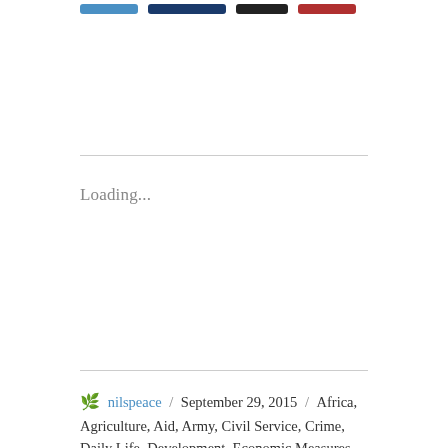Loading...
nilspeace / September 29, 2015 / Africa, Agriculture, Aid, Army, Civil Service, Crime, Daily Life, Development, Economic Measures, Economy, Ethics, Governance, Government, Infrastructure, Law, Politics, Sanctions, Trade, War History / Abyei, Abyei Joint Oversight Committee, Acholi, AFP, African Union, Aid Delivery, Air Drops, Air Space, Airspace, Akobo, Akobo CSB, Armed, Armed Conflict, Atout, AU, Bari, Bentiu, Bor, Bor PoC, Bullets, Cattle Keepers, Cattle Raiders, Central Equatoria, Cholera, Civil Unrest, Civillians, Communication, County Support Base, Crossfire, Crude Oil, Dinka, Dr. Rick Machar, Dry Season, East Africa